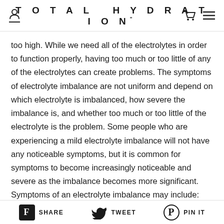TOTAL HYDRATION
too high. While we need all of the electrolytes in order to function properly, having too much or too little of any of the electrolytes can create problems. The symptoms of electrolyte imbalance are not uniform and depend on which electrolyte is imbalanced, how severe the imbalance is, and whether too much or too little of the electrolyte is the problem. Some people who are experiencing a mild electrolyte imbalance will not have any noticeable symptoms, but it is common for symptoms to become increasingly noticeable and severe as the imbalance becomes more significant. Symptoms of an electrolyte imbalance may include:
Extreme thirst
SHARE   TWEET   PIN IT